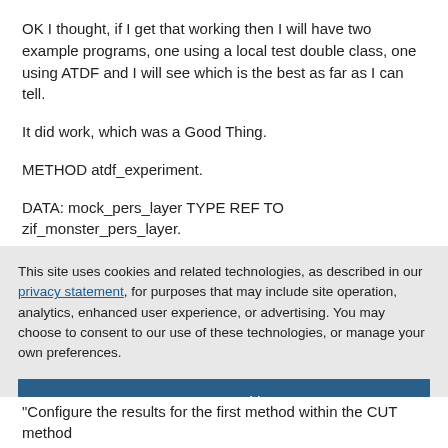OK I thought, if I get that working then I will have two example programs, one using a local test double class, one using ATDF and I will see which is the best as far as I can tell.
It did work, which was a Good Thing.
METHOD atdf_experiment.
DATA: mock_pers_layer TYPE REF TO zif_monster_pers_layer.
“Create Test Double
This site uses cookies and related technologies, as described in our privacy statement, for purposes that may include site operation, analytics, enhanced user experience, or advertising. You may choose to consent to our use of these technologies, or manage your own preferences.
Accept Cookies
More Information
Privacy Policy | Powered by: TrustArc
“Configure the results for the first method within the CUT method